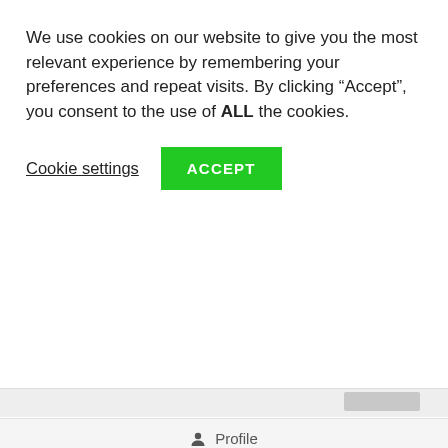We use cookies on our website to give you the most relevant experience by remembering your preferences and repeat visits. By clicking “Accept”, you consent to the use of ALL the cookies.
Cookie settings  ACCEPT
Profile
Activity
About Me
Option 2: Take-Home Teeth bleaching Trays. A great event coming in per month that you preparing when? I mean really preparing, like, have your outfit purchased, hair appointment made, car rental scheduled and guaranteed prepared. If so, then take-home bleach